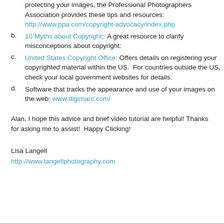protecting your images, the Professional Photographers Association provides these tips and resources: http://www.ppa.com/copyright-advocacy/index.php
10 Myths about Copyright:  A great resource to clarify misconceptions about copyright:
United States Copyright Office: Offers details on registering your copyrighted material within the US.  For countries outside the US, check your local government websites for details.
Software that tracks the appearance and use of your images on the web: www.digimarc.com/
Alan, I hope this advice and brief video tutorial are helpful!  Thanks for asking me to assist!  Happy Clicking!
Lisa Langell
http://www.langellphotography.com